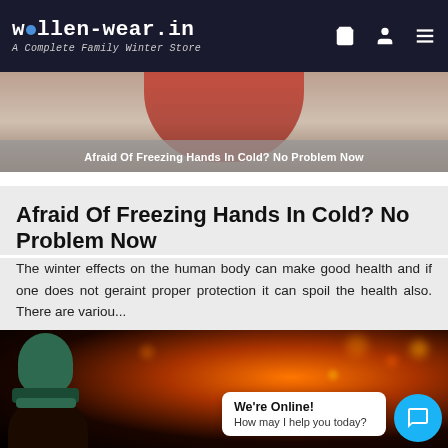woollen-wear.in — A Complete Family Winter Store
[Figure (photo): Banner image with person in red jacket and text overlay: Afraid Of Freezing Hands In Cold? No Problem Now]
Afraid Of Freezing Hands In Cold? No Problem Now
The winter effects on the human body can make good health and if one does not geraint proper protection it can spoil the health also. There are variou...
[Figure (photo): Winter outdoor scene with person wearing a dark green knit hat, bokeh city lights in background. Chat widget visible: 'We're Online! How may I help you today?']